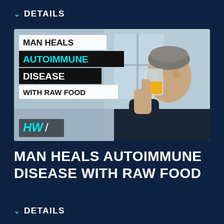DETAILS
[Figure (photo): Thumbnail image of a man drinking orange juice from a glass, with overlaid text reading 'MAN HEALS AUTOIMMUNE DISEASE WITH RAW FOOD' and the HW logo in the bottom left corner.]
MAN HEALS AUTOIMMUNE DISEASE WITH RAW FOOD
DETAILS